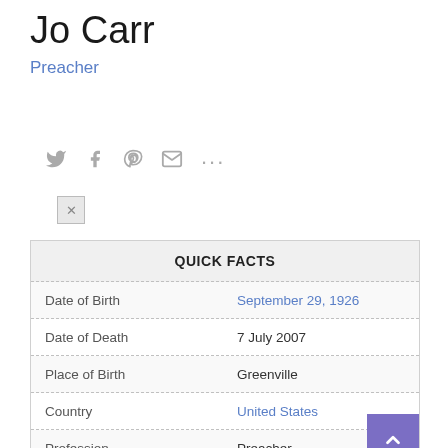Jo Carr
Preacher
[Figure (infographic): Social media sharing icons: Twitter bird, Facebook f, Pinterest P, envelope/email, ellipsis (more), and an X button below]
| Field | Value |
| --- | --- |
| Date of Birth | September 29, 1926 |
| Date of Death | 7 July 2007 |
| Place of Birth | Greenville |
| Country | United States |
| Profession | Preacher |
| Horoscope | Capricorn |